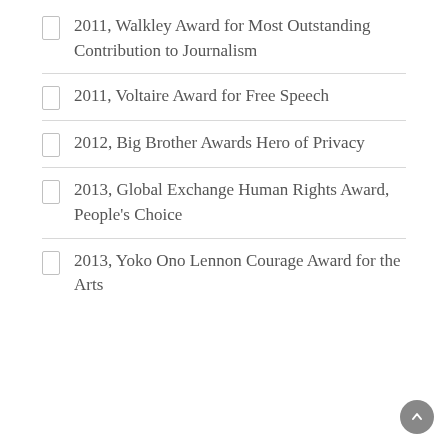2011, Walkley Award for Most Outstanding Contribution to Journalism
2011, Voltaire Award for Free Speech
2012, Big Brother Awards Hero of Privacy
2013, Global Exchange Human Rights Award, People's Choice
2013, Yoko Ono Lennon Courage Award for the Arts